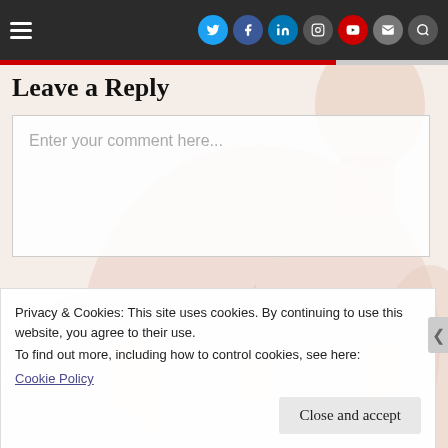Navigation bar with hamburger menu and social icons: Twitter, Facebook, LinkedIn, Instagram, YouTube, Mail, Search
Leave a Reply
Enter your comment here...
[Figure (photo): Faded background photo of a muscular shirtless man wearing a cross necklace]
Privacy & Cookies: This site uses cookies. By continuing to use this website, you agree to their use.
To find out more, including how to control cookies, see here:
Cookie Policy
Close and accept